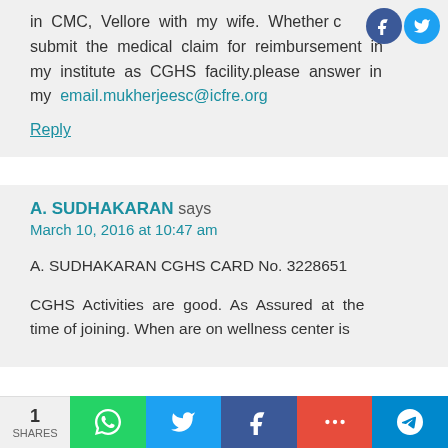in CMC, Vellore with my wife. Whether c submit the medical claim for reimbursement in my institute as CGHS facility.please answer in my email.mukherjeesc@icfre.org
Reply
A. SUDHAKARAN says
March 10, 2016 at 10:47 am
A. SUDHAKARAN CGHS CARD No. 3228651
CGHS Activities are good. As Assured at the time of joining. When are on wellness center is
1 SHARES